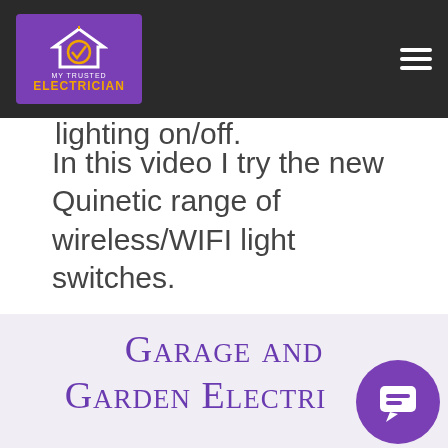My Trusted Electrician — navigation bar with logo
There are some amazing products available now in terms of switching your lighting on/off.
In this video I try the new Quinetic range of wireless/WIFI light switches.
Garage and Garden Electri...